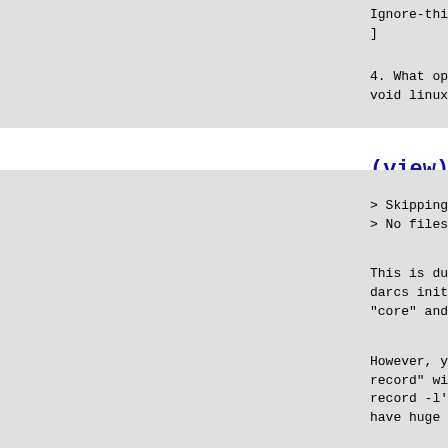Ignore-this: bd76d7e31488721e4a5ce7
]
4. What operating system are you running?
void linux, 5.9.13
msg22540 (view)
> Skipping './Documentation/features...
> No files were added

This is due to the default boring fi...
darcs init. You have to remove or co...
"core" and "tags" in _darcs/prefs/bo...

However, you will find that it is no...
record" with so many files. It is fa...
record -l'. But for the linux kernel...
have huge amounts of memory. On my l...

  darcs record -lam XXX

runs out of memory pretty soon and t...
I am aware of that works here is to ...
sequence of patches that individually...
that is to first record all director...

  find . -not -path */_darcs* -type ...
  darcs record -m "initial add of...